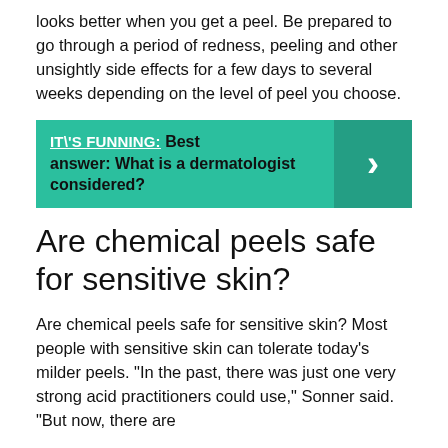looks better when you get a peel. Be prepared to go through a period of redness, peeling and other unsightly side effects for a few days to several weeks depending on the level of peel you choose.
[Figure (infographic): Teal banner with link text 'IT\'S FUNNING:' and bold text 'Best answer: What is a dermatologist considered?' with a right-arrow chevron on the darker teal right side.]
Are chemical peels safe for sensitive skin?
Are chemical peels safe for sensitive skin? Most people with sensitive skin can tolerate today’s milder peels. “In the past, there was just one very strong acid practitioners could use,” Sonner said. “But now, there are